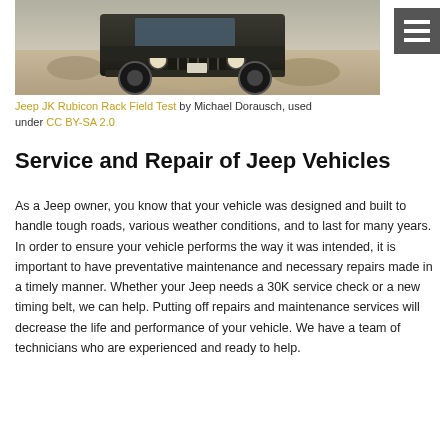[Figure (photo): Black Jeep JK Wrangler on rocky terrain, front view, off-road setting]
Jeep JK Rubicon Rack Field Test by Michael Dorausch, used under CC BY-SA 2.0
Service and Repair of Jeep Vehicles
As a Jeep owner, you know that your vehicle was designed and built to handle tough roads, various weather conditions, and to last for many years. In order to ensure your vehicle performs the way it was intended, it is important to have preventative maintenance and necessary repairs made in a timely manner. Whether your Jeep needs a 30K service check or a new timing belt, we can help. Putting off repairs and maintenance services will decrease the life and performance of your vehicle. We have a team of technicians who are experienced and ready to help.